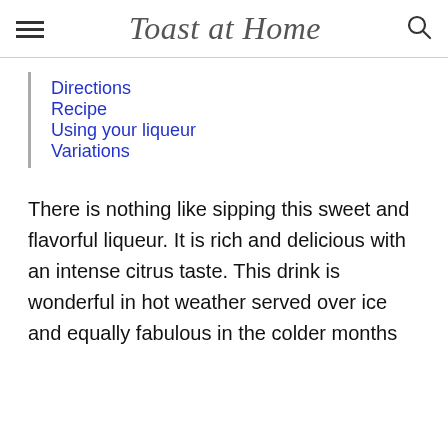Toast at Home
Directions
Recipe
Using your liqueur
Variations
There is nothing like sipping this sweet and flavorful liqueur. It is rich and delicious with an intense citrus taste. This drink is wonderful in hot weather served over ice and equally fabulous in the colder months